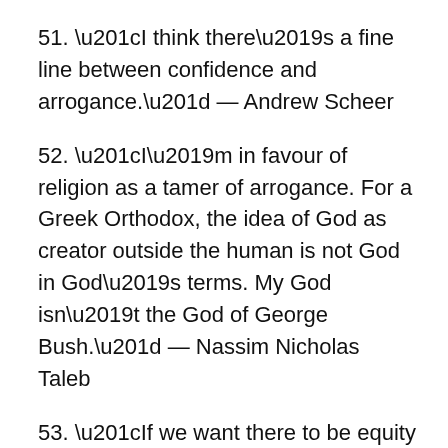51. “I think there’s a fine line between confidence and arrogance.” — Andrew Scheer
52. “I’m in favour of religion as a tamer of arrogance. For a Greek Orthodox, the idea of God as creator outside the human is not God in God’s terms. My God isn’t the God of George Bush.” — Nassim Nicholas Taleb
53. “If we want there to be equity and acceptance, we must learn to trample first our own arrogance.” — Abhijit Naskar
54. “It’s much easier on the emotions when one sees life as an experiment rather than a struggle